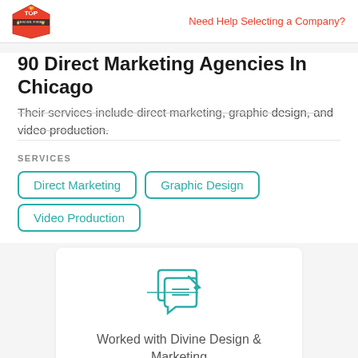Need Help Selecting a Company?
90 Direct Marketing Agencies In Chicago
Their services include direct marketing, graphic design, and video production.
SERVICES
Direct Marketing
Graphic Design
Video Production
Worked with Divine Design & Marketing before?
Leave a Review >